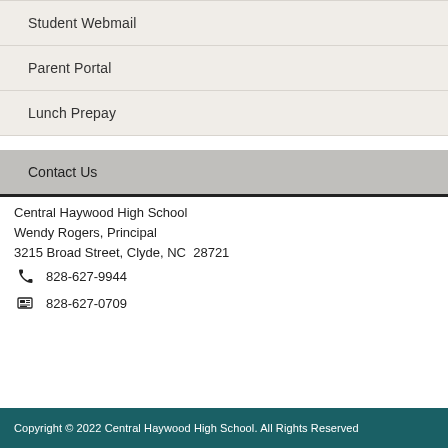Student Webmail
Parent Portal
Lunch Prepay
Contact Us
Central Haywood High School
Wendy Rogers, Principal
3215 Broad Street, Clyde, NC  28721
828-627-9944
828-627-0709
Copyright © 2022 Central Haywood High School. All Rights Reserved